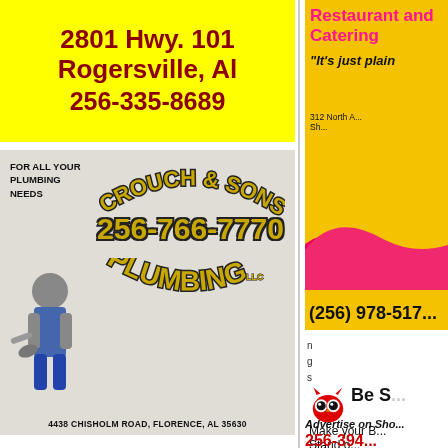[Figure (advertisement): Yellow background ad with dark red text: '2801 Hwy. 101 / Rogersville, Al / 256-335-8689']
[Figure (advertisement): Crouch & Sons Plumbing LLC ad on grey background with plumber mascot. Phone: 256-766-7770. Address: 4438 Chisholm Road, Florence, AL 35630. Text: For All Your Plumbing Needs]
[Figure (advertisement): Dynamic Dentistry of the Shoals. Mary Leigh Gillespie, D.M.D. Julie Rice, D.M.D.]
[Figure (advertisement): Restaurant and Catering ad on yellow/pink background. Quote: It's just plain. Address: 312 North. Phone: (256) 978-517]
[Figure (advertisement): Be Smart owl logo ad. Make your Business Stand out. Advertise on Shoals. Phone: 256-394-...]